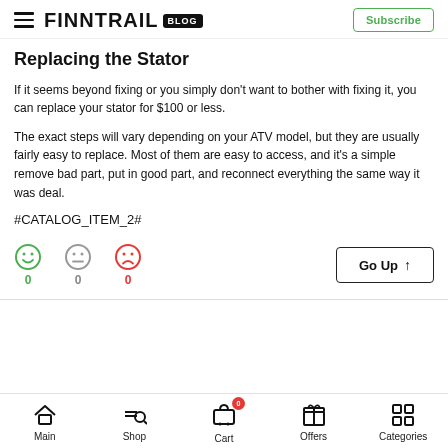FINNTRAIL BLOG | Subscribe
Replacing the Stator
If it seems beyond fixing or you simply don't want to bother with fixing it, you can replace your stator for $100 or less.
The exact steps will vary depending on your ATV model, but they are usually fairly easy to replace. Most of them are easy to access, and it's a simple remove bad part, put in good part, and reconnect everything the same way it was deal.
#CATALOG_ITEM_2#
Main | Shop | Cart | Offers | Categories